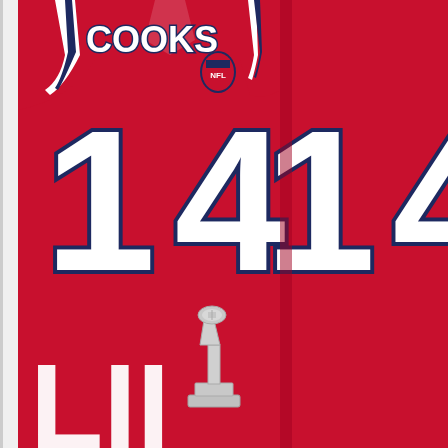[Figure (photo): Two red New England Patriots NFL football jerseys with the name COOKS and number 14 on the front. The jerseys are displayed side by side. A Lombardi Trophy (Super Bowl trophy) is visible at the bottom center. Large white letters 'LII' are partially visible at the bottom, indicating Super Bowl LII. The jerseys feature white numbers outlined in dark blue, white and blue stripes on the shoulders, and a NFL shield logo on the chest.]